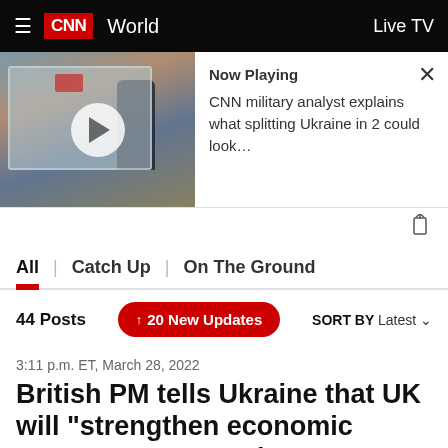CNN World | Live TV
[Figure (screenshot): CNN video player showing a military analyst at a map display, with 'Now Playing' overlay: 'CNN military analyst explains what splitting Ukraine in 2 could look...']
All | Catch Up | On The Ground
44 Posts  ↑ 20 New Updates  SORT BY Latest
3:11 p.m. ET, March 28, 2022
British PM tells Ukraine that UK will "strengthen economic pressure" on Russia
From CNN's Niamh Kennedy and David Wilkinson in London
British Prime Minister Boris Johnson spoke to Ukrainian